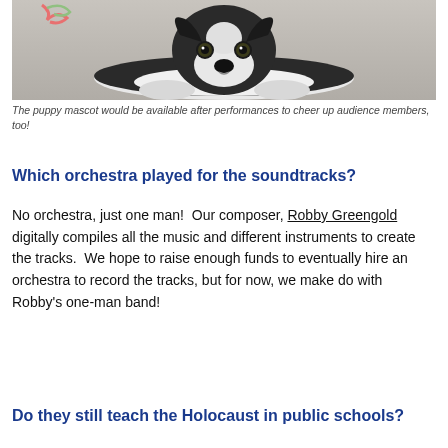[Figure (photo): A black and white Boston Terrier puppy lying on the floor, looking at the camera, with a colorful toy nearby.]
The puppy mascot would be available after performances to cheer up audience members, too!
Which orchestra played for the soundtracks?
No orchestra, just one man!  Our composer, Robby Greengold digitally compiles all the music and different instruments to create the tracks.  We hope to raise enough funds to eventually hire an orchestra to record the tracks, but for now, we make do with Robby's one-man band!
Do they still teach the Holocaust in public schools?